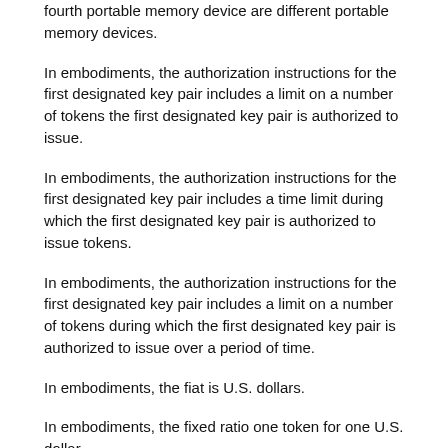fourth portable memory device are different portable memory devices.
In embodiments, the authorization instructions for the first designated key pair includes a limit on a number of tokens the first designated key pair is authorized to issue.
In embodiments, the authorization instructions for the first designated key pair includes a time limit during which the first designated key pair is authorized to issue tokens.
In embodiments, the authorization instructions for the first designated key pair includes a limit on a number of tokens during which the first designated key pair is authorized to issue over a period of time.
In embodiments, the fiat is U.S. dollars.
In embodiments, the fixed ratio one token for one U.S. dollar.
In embodiments, the fixed ratio is 100 tokens for one U.S. dollar.
In embodiments, the first designated public key is